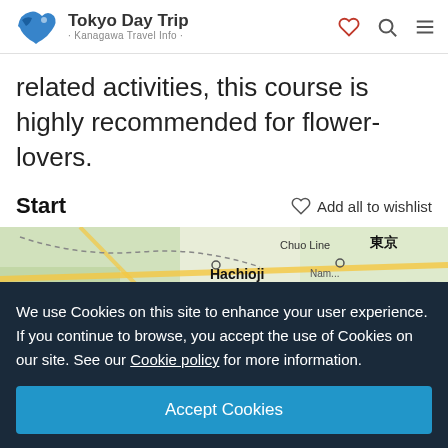Tokyo Day Trip · Kanagawa Travel Info ·
related activities, this course is highly recommended for flower-lovers.
Start
Add all to wishlist
[Figure (map): Map showing Hachioji area with Chuo Line and surrounding Tokyo region]
We use Cookies on this site to enhance your user experience. If you continue to browse, you accept the use of Cookies on our site. See our Cookie policy for more information.
Accept Cookies